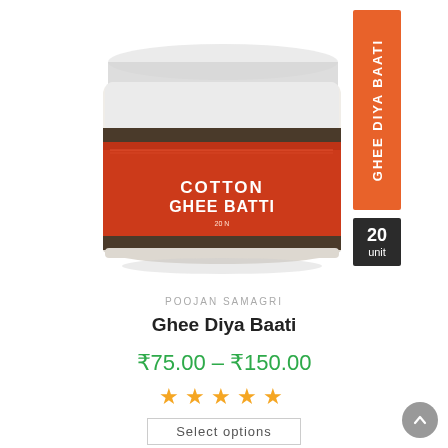[Figure (photo): A clear plastic jar labeled 'COTTON GHEE BATTI' with a red label featuring decorative patterns. The jar contains white cotton wicks. An orange vertical banner on the right reads 'GHEE DIYA BAATI' and a black box below it reads '20 unit'.]
POOJAN SAMAGRI
Ghee Diya Baati
₹75.00 – ₹150.00
[Figure (other): Five gold/orange filled star rating icons]
Select options